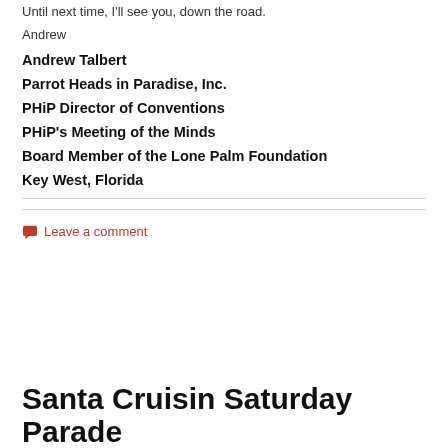Until next time, I'll see you, down the road.
Andrew
Andrew Talbert
Parrot Heads in Paradise, Inc.
PHiP Director of Conventions
PHiP's Meeting of the Minds
Board Member of the Lone Palm Foundation
Key West, Florida
Leave a comment
Santa Cruisin Saturday Parade